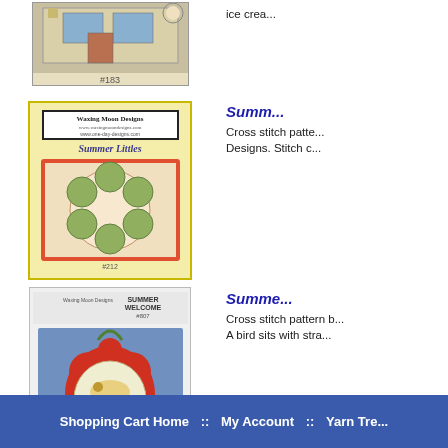[Figure (photo): Cross stitch pattern booklet cover #183, showing a house design]
[Figure (photo): Waxing Moon Designs Summer Littles #212 cross stitch pattern booklet cover, showing small summer designs on a yellow background with red border]
Summer Littles
Cross stitch pattern by Waxing Moon Designs. Stitch c
[Figure (photo): Summer Welcome #807 cross stitch pattern booklet cover by Waxing Moon Designs, showing a bird with strawberry on blue background]
Summer Welcome
Cross stitch pattern b A bird sits with stra
Displaying 1 to 16 (of 16 products)
Shopping Cart Home :: My Account :: Yarn Tre